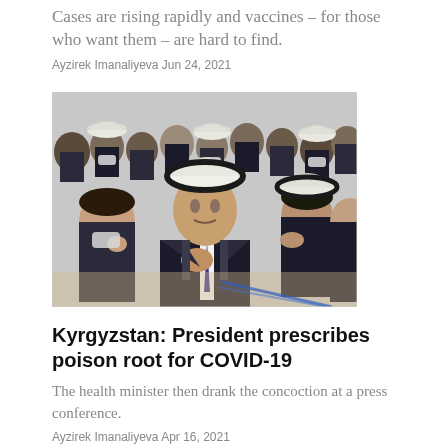Cases are rising rapidly and vaccines – for those who want them – are hard to find.
Ayzirek Imanaliyeva Jun 24, 2021
[Figure (photo): A man in a suit wearing a traditional Kyrgyz kalpak (white felt hat) with his hand on his chest, surrounded by people in masks and dark suits at an official gathering.]
Kyrgyzstan: President prescribes poison root for COVID-19
The health minister then drank the concoction at a press conference.
Ayzirek Imanaliyeva Apr 16, 2021